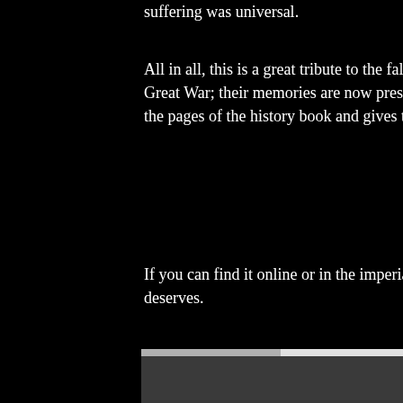suffering was universal.
All in all, this is a great tribute to the fallen and those who fought in The Great War; their memories are now preserved in a film which lifts them off the pages of the history book and gives them life.
If you can find it online or in the imperial war museum, give it the time it deserves.
[Figure (illustration): Author bio box with a grey placeholder avatar silhouette image on the left, and 'by Richard Bellis' text on the right on a light grey background.]